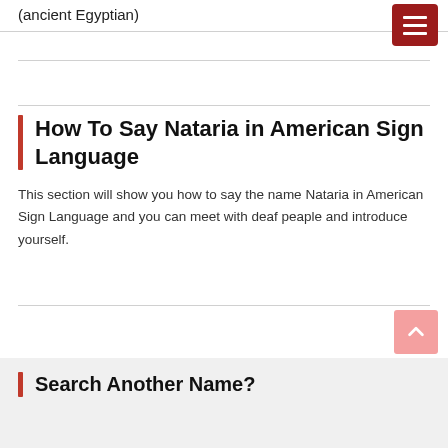(ancient Egyptian)
How To Say Nataria in American Sign Language
This section will show you how to say the name Nataria in American Sign Language and you can meet with deaf peaple and introduce yourself.
Search Another Name?